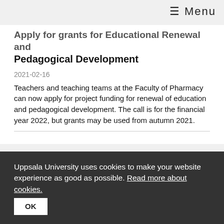≡ Menu
Apply for grants for Educational Renewal and Pedagogical Development
2021-02-16
Teachers and teaching teams at the Faculty of Pharmacy can now apply for project funding for renewal of education and pedagogical development. The call is for the financial year 2022, but grants may be used from autumn 2021.
New results show broad immunity against covid-19 after nine months
2021-02-16
96 percent of those who develop antibodies to SARS-CoV-
Uppsala University uses cookies to make your website experience as good as possible. Read more about cookies.